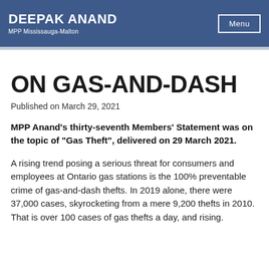DEEPAK ANAND MPP Mississauga-Malton Menu
ON GAS-AND-DASH
Published on March 29, 2021
MPP Anand’s thirty-seventh Members’ Statement was on the topic of "Gas Theft", delivered on 29 March 2021.
A rising trend posing a serious threat for consumers and employees at Ontario gas stations is the 100% preventable crime of gas-and-dash thefts. In 2019 alone, there were 37,000 cases, skyrocketing from a mere 9,200 thefts in 2010. That is over 100 cases of gas thefts a day, and rising.